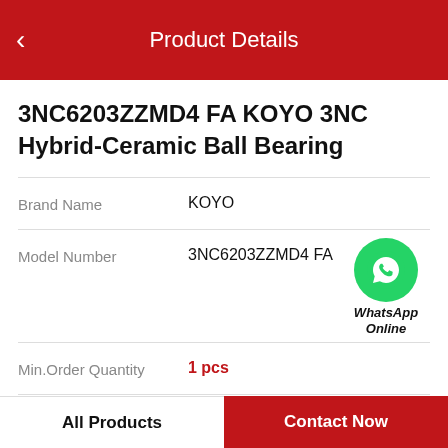Product Details
3NC6203ZZMD4 FA KOYO 3NC Hybrid-Ceramic Ball Bearing
| Field | Value |
| --- | --- |
| Brand Name | KOYO |
| Model Number | 3NC6203ZZMD4 FA |
| Min.Order Quantity | 1 pcs |
| Price | Negotiable |
[Figure (logo): WhatsApp Online green phone icon with text WhatsApp Online]
Product Features
All Products | Contact Now